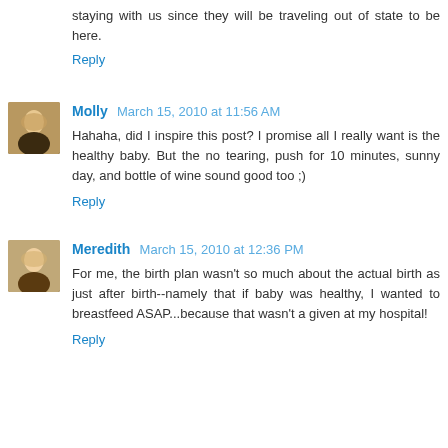staying with us since they will be traveling out of state to be here.
Reply
Molly  March 15, 2010 at 11:56 AM
Hahaha, did I inspire this post? I promise all I really want is the healthy baby. But the no tearing, push for 10 minutes, sunny day, and bottle of wine sound good too ;)
Reply
Meredith  March 15, 2010 at 12:36 PM
For me, the birth plan wasn't so much about the actual birth as just after birth--namely that if baby was healthy, I wanted to breastfeed ASAP...because that wasn't a given at my hospital!
Reply